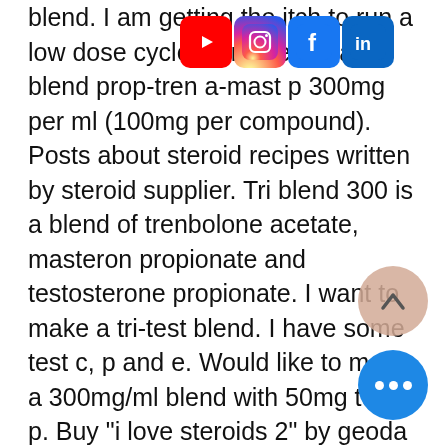[Figure (logo): Social media icons: YouTube, Instagram, Facebook, LinkedIn]
blend. I am getting the itch to run a low dose cycle, considering a tri-blend prop-tren a-mast p 300mg per ml (100mg per compound). Posts about steroid recipes written by steroid supplier. Tri blend 300 is a blend of trenbolone acetate, masteron propionate and testosterone propionate. I want to make a tri-test blend. I have some test c, p and e. Would like to make a 300mg/ml blend with 50mg test-p. Buy &quot;i love steroids 2&quot; by geoda as a essential t-shirt. Buy final use tri blend 300 mg/ml tmt 300 finished injectable anabolic steroids from hongkong pengfei pharmaceutical technology co. Tri-trenbolone is an excellent choice for an anabolic steroid. It is versatile and offers plenty of benefits for those trying to enhance their abilities and tri-ten (tri trenbolone) is a steroid packed with crazy effects. It is popular among bodybuilders because of its ability to build muscles quickly. Tri-trenabolone is